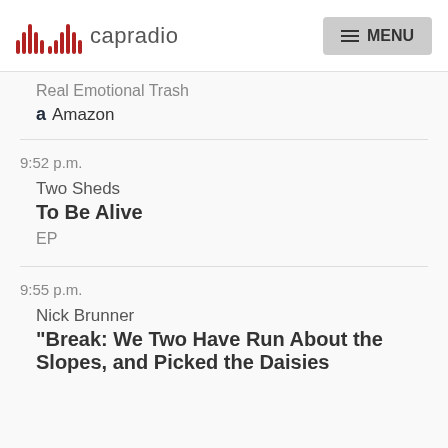capradio | MENU
Real Emotional Trash
Amazon
9:52 p.m.
Two Sheds
To Be Alive
EP
9:55 p.m.
Nick Brunner
"Break: We Two Have Run About the Slopes, and Picked the Daisies